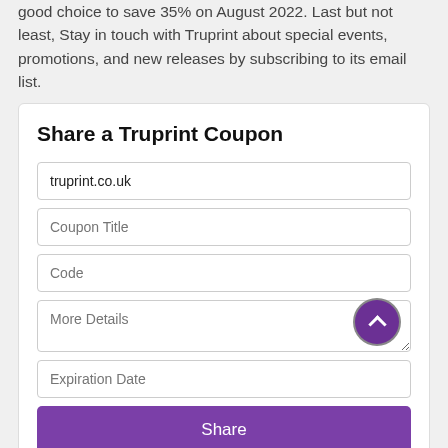good choice to save 35% on August 2022. Last but not least, Stay in touch with Truprint about special events, promotions, and new releases by subscribing to its email list.
Share a Truprint Coupon
[Figure (other): A web form with fields: truprint.co.uk (filled), Coupon Title (placeholder), Code (placeholder), More Details (placeholder, textarea), Expiration Date (placeholder), and a purple Share button.]
Truprint Coupons Stats